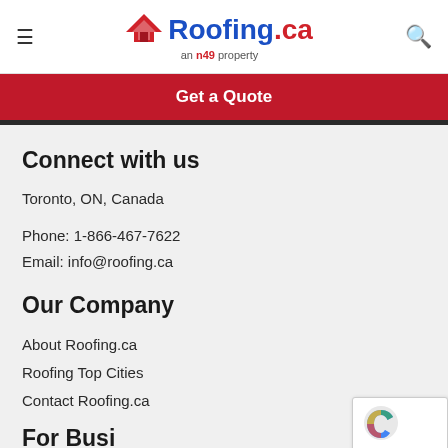Roofing.ca — an n49 property
Get a Quote
Connect with us
Toronto, ON, Canada
Phone: 1-866-467-7622
Email: info@roofing.ca
Our Company
About Roofing.ca
Roofing Top Cities
Contact Roofing.ca
For Busi…